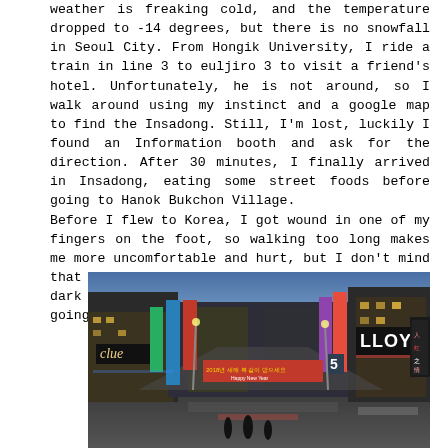weather is freaking cold, and the temperature dropped to -14 degrees, but there is no snowfall in Seoul City. From Hongik University, I ride a train in line 3 to euljiro 3 to visit a friend's hotel. Unfortunately, he is not around, so I walk around using my instinct and a google map to find the Insadong. Still, I'm lost, luckily I found an Information booth and ask for the direction. After 30 minutes, I finally arrived in Insadong, eating some street foods before going to Hanok Bukchon Village. Before I flew to Korea, I got wound in one of my fingers on the foot, so walking too long makes me more uncomfortable and hurt, but I don't mind that because I went to Korea to enjoy it. It was dark when I decided to go home and rest before going to my friend's hotel in myeongdong.
[Figure (photo): A nighttime street scene in Myeongdong, Seoul, South Korea. The street is lined with illuminated commercial signs in Korean and English, including visible signs for 'LLOYD', 'clue', and a Happy New Year banner. Buildings with multiple storefronts and neon lights line both sides of the busy shopping street.]